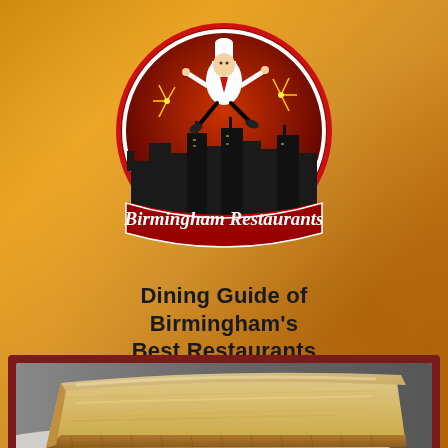[Figure (logo): Birmingham Restaurants logo: circular red and dark gradient badge with silhouetted city skyline, a jumping chef figure on top, and a red banner reading 'Birmingham Restaurants']
Dining Guide of Birmingham's Best Restaurants
[Figure (photo): Close-up photograph of a slice of creamy cheesecake on a white plate, with a graham cracker crust, against a dark background]